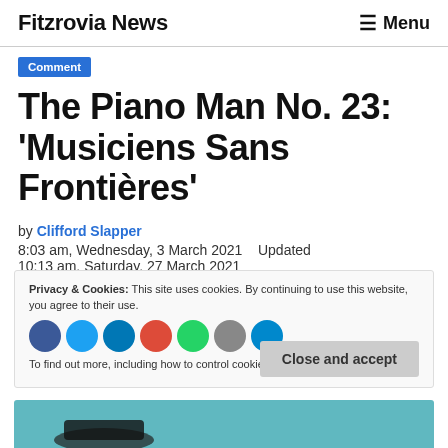Fitzrovia News  ☰ Menu
Comment
The Piano Man No. 23: 'Musiciens Sans Frontières'
by Clifford Slapper
8:03 am, Wednesday, 3 March 2021    Updated 10:13 am, Saturday, 27 March 2021
Privacy & Cookies: This site uses cookies. By continuing to use this website, you agree to their use. To find out more, including how to control cookies, see here: Cookie Policy
Close and accept
[Figure (photo): Teal/cyan background image strip at bottom, partially showing a piano or musical instrument silhouette]